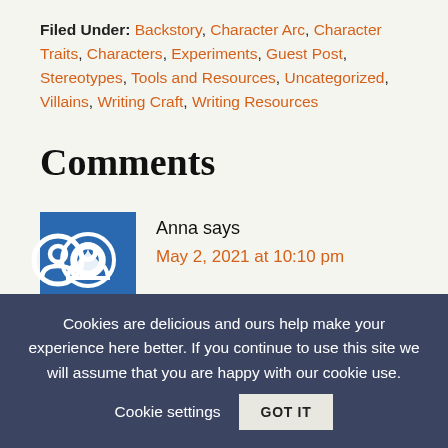Filed Under: Backstory, Character Arc, Character Traits, Characters, Experiments, Guest Post, Stereotypes, Tools and Resources, Uncategorized, Villains, Writing Craft, Writing Resources
Comments
Anna says
May 2, 2021 at 10:10 pm
The here machine link previously mentioned
Cookies are delicious and ours help make your experience here better. If you continue to use this site we will assume that you are happy with our cookie use.  Cookie settings  GOT IT